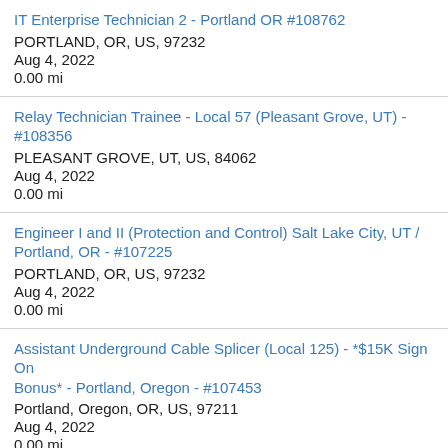IT Enterprise Technician 2 - Portland OR #108762
PORTLAND, OR, US, 97232
Aug 4, 2022
0.00 mi
Relay Technician Trainee - Local 57 (Pleasant Grove, UT) - #108356
PLEASANT GROVE, UT, US, 84062
Aug 4, 2022
0.00 mi
Engineer I and II (Protection and Control) Salt Lake City, UT / Portland, OR - #107225
PORTLAND, OR, US, 97232
Aug 4, 2022
0.00 mi
Assistant Underground Cable Splicer (Local 125) - *$15K Sign On Bonus* - Portland, Oregon - #107453
Portland, Oregon, OR, US, 97211
Aug 4, 2022
0.00 mi
Apprentice Qualified - Yreka, CA (Local 659) #108106